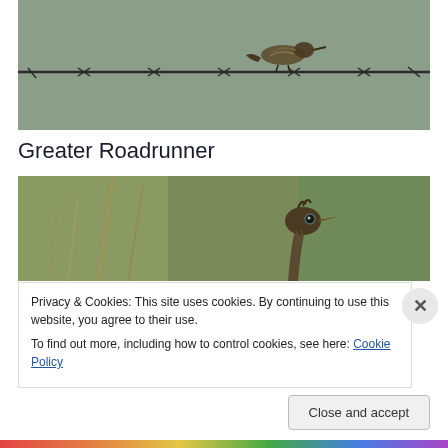[Figure (photo): A bird (sparrow-like) perched on a barbed wire fence against a muted green-grey background]
Greater Roadrunner
[Figure (photo): A Greater Roadrunner bird peeking up from behind brush, showing its head and beak against a blurred green/tan background]
Privacy & Cookies: This site uses cookies. By continuing to use this website, you agree to their use.
To find out more, including how to control cookies, see here: Cookie Policy
Close and accept